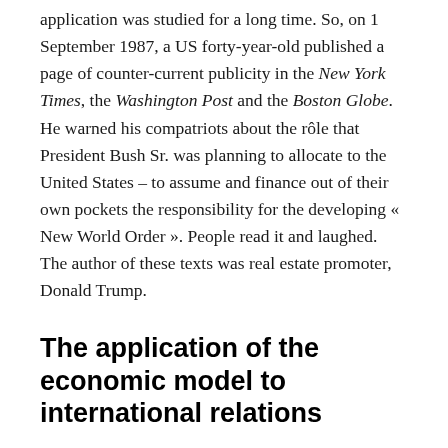application was studied for a long time. So, on 1 September 1987, a US forty-year-old published a page of counter-current publicity in the New York Times, the Washington Post and the Boston Globe. He warned his compatriots about the rôle that President Bush Sr. was planning to allocate to the United States – to assume and finance out of their own pockets the responsibility for the developing « New World Order ». People read it and laughed. The author of these texts was real estate promoter, Donald Trump.
The application of the economic model to international relations
One month after the attacks of 11 September 2001, US Secretary of Defense Donald Rumsfeld nominated his friend Admiral Arthur Cebrowski as Director of the